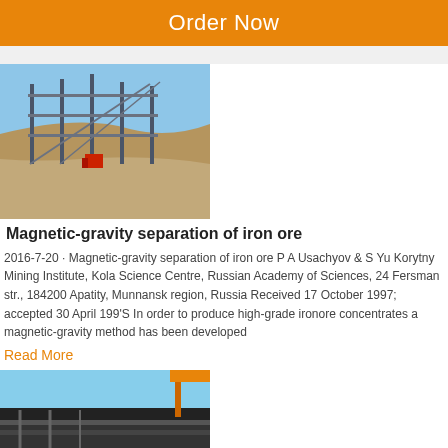Order Now
[Figure (photo): Outdoor industrial mining/separation equipment with metal frame structures against a hillside and clear sky]
Magnetic-gravity separation of iron ore
2016-7-20 · Magnetic-gravity separation of iron ore P A Usachyov & S Yu Korytny Mining Institute, Kola Science Centre, Russian Academy of Sciences, 24 Fersman str., 184200 Apatity, Munnansk region, Russia Received 17 October 1997; accepted 30 April 199'S In order to produce high-grade ironore concentrates a magnetic-gravity method has been developed
Read More
[Figure (photo): Industrial conveyor belt equipment against a blue sky, partial view]